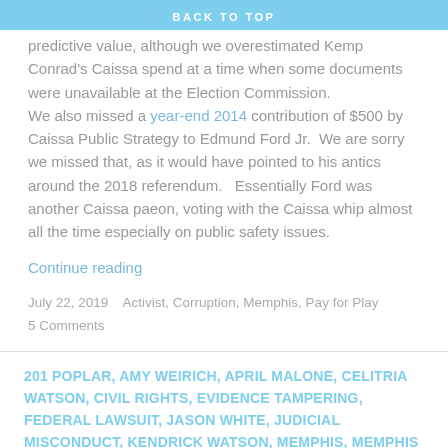BACK TO TOP
predictive value, although we overestimated Kemp Conrad’s Caissa spend at a time when some documents were unavailable at the Election Commission.
We also missed a year-end 2014 contribution of $500 by Caissa Public Strategy to Edmund Ford Jr. We are sorry we missed that, as it would have pointed to his antics around the 2018 referendum. Essentially Ford was another Caissa paeon, voting with the Caissa whip almost all the time especially on public safety issues.
Continue reading
July 22, 2019    Activist, Corruption, Memphis, Pay for Play
5 Comments
201 POPLAR, AMY WEIRICH, APRIL MALONE, CELITRIA WATSON, CIVIL RIGHTS, EVIDENCE TAMPERING, FEDERAL LAWSUIT, JASON WHITE, JUDICIAL MISCONDUCT, KENDRICK WATSON, MEMPHIS, MEMPHIS CORRUPTION